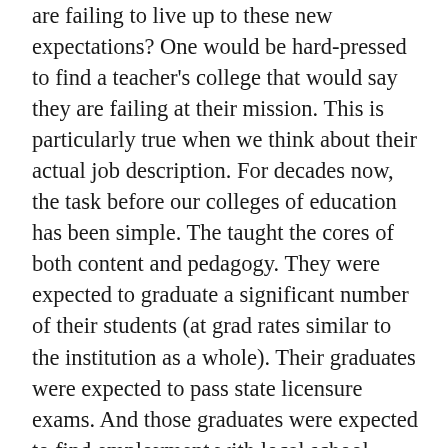are failing to live up to these new expectations? One would be hard-pressed to find a teacher's college that would say they are failing at their mission. This is particularly true when we think about their actual job description. For decades now, the task before our colleges of education has been simple. The taught the cores of both content and pedagogy. They were expected to graduate a significant number of their students (at grad rates similar to the institution as a whole). Their graduates were expected to pass state licensure exams. And those graduates were expected to find employment with local school districts (or at least districts somewhere in the state). These were our expectations of our ed schools, and based on these standards, most were indeed